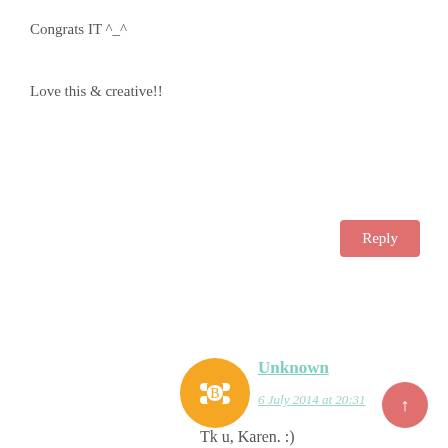Congrats IT ^_^
Love this & creative!!
Reply
Unknown
6 July 2014 at 20:31
Tk u, Karen. :)
5.
Rina @ Bento School Lunches
2 July 2014 at 05:56
I love the super cute bear